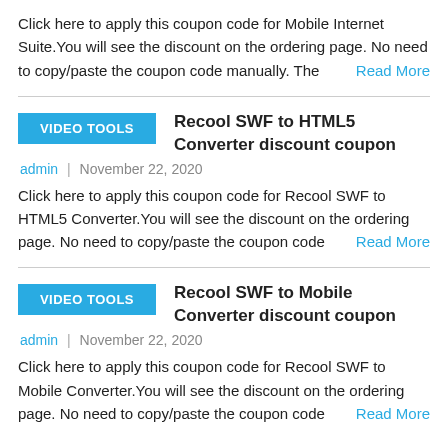Click here to apply this coupon code for Mobile Internet Suite.You will see the discount on the ordering page. No need to copy/paste the coupon code manually. The    Read More
VIDEO TOOLS   Recool SWF to HTML5 Converter discount coupon
admin  |  November 22, 2020
Click here to apply this coupon code for Recool SWF to HTML5 Converter.You will see the discount on the ordering page. No need to copy/paste the coupon code    Read More
VIDEO TOOLS   Recool SWF to Mobile Converter discount coupon
admin  |  November 22, 2020
Click here to apply this coupon code for Recool SWF to Mobile Converter.You will see the discount on the ordering page. No need to copy/paste the coupon code    Read More